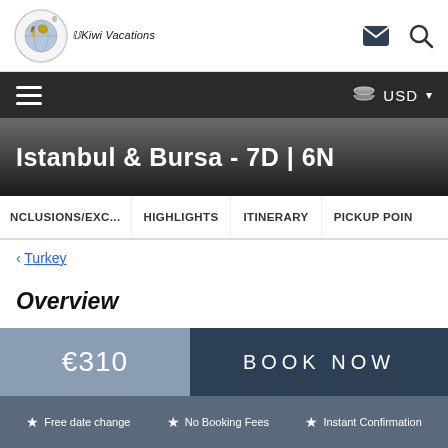The Kiwi Vacations
Istanbul & Bursa - 7D | 6N
NCLUSIONS/EXC...   HIGHLIGHTS   ITINERARY   PICKUP POIN
< Turkey
Overview
€310
BOOK NOW
★ Free date change  ★ No Booking Fees  ★ Instant Confirmation